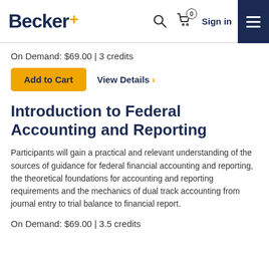[Figure (logo): Becker+ logo with navigation icons (search, cart, sign in, hamburger menu) on a white/navy header bar]
On Demand: $69.00 | 3 credits
Add to Cart  View Details >
Introduction to Federal Accounting and Reporting
Participants will gain a practical and relevant understanding of the sources of guidance for federal financial accounting and reporting, the theoretical foundations for accounting and reporting requirements and the mechanics of dual track accounting from journal entry to trial balance to financial report.
On Demand: $69.00 | 3.5 credits